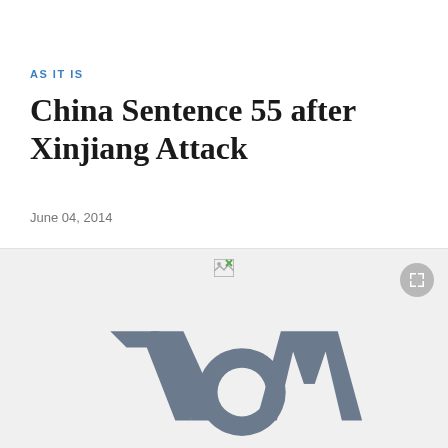AS IT IS
China Sentence 55 after Xinjiang Attack
June 04, 2014
[Figure (logo): VOA (Voice of America) logo placeholder image with gray VOA logo on light gray background]